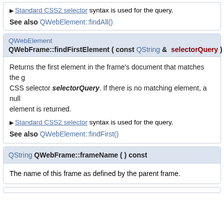▶ Standard CSS2 selector syntax is used for the query.
See also QWebElement::findAll()
QWebElement
QWebFrame::findFirstElement ( const QString & selectorQuery )
Returns the first element in the frame's document that matches the given CSS selector selectorQuery. If there is no matching element, a null element is returned.
▶ Standard CSS2 selector syntax is used for the query.
See also QWebElement::findFirst()
QString QWebFrame::frameName ( ) const
The name of this frame as defined by the parent frame.